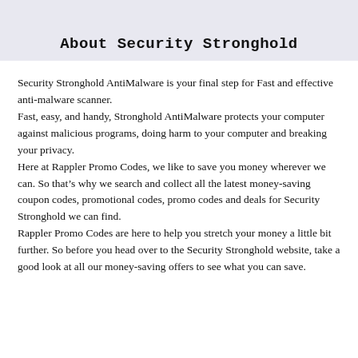About Security Stronghold
Security Stronghold AntiMalware is your final step for Fast and effective anti-malware scanner.
Fast, easy, and handy, Stronghold AntiMalware protects your computer against malicious programs, doing harm to your computer and breaking your privacy.
Here at Rappler Promo Codes, we like to save you money wherever we can. So that’s why we search and collect all the latest money-saving coupon codes, promotional codes, promo codes and deals for Security Stronghold we can find.
Rappler Promo Codes are here to help you stretch your money a little bit further. So before you head over to the Security Stronghold website, take a good look at all our money-saving offers to see what you can save.